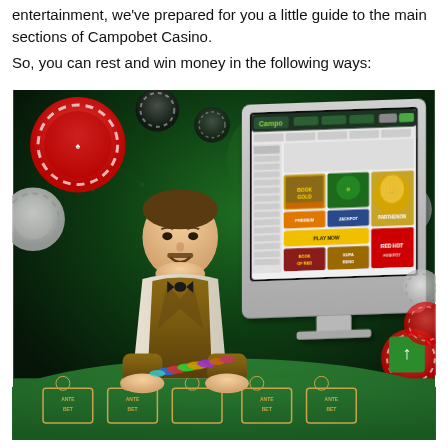entertainment, we've prepared for you a little guide to the main sections of Campobet Casino.
So, you can rest and win money in the following ways:
[Figure (photo): A casino dealer in a brown vest and bow tie stands behind a green felt poker table with casino chips. Behind him is a large computer monitor displaying the Campobet Casino website with various slot game thumbnails including Book of Gold and Parthenon games. The background features a dark green design with scattered casino chips and playing card chip decorations. A green scroll-to-top arrow button is visible in the lower right corner.]